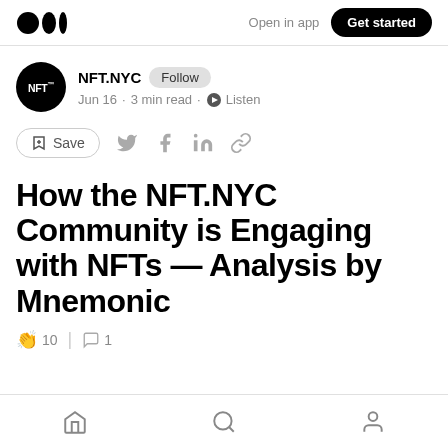Medium — Open in app · Get started
NFT.NYC · Follow · Jun 16 · 3 min read · Listen
Save (social share icons)
How the NFT.NYC Community is Engaging with NFTs — Analysis by Mnemonic
👏 10 | 💬 1
Home · Search · Profile